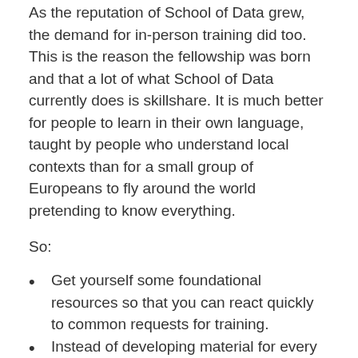As the reputation of School of Data grew, the demand for in-person training did too. This is the reason the fellowship was born and that a lot of what School of Data currently does is skillshare. It is much better for people to learn in their own language, taught by people who understand local contexts than for a small group of Europeans to fly around the world pretending to know everything.
So:
Get yourself some foundational resources so that you can react quickly to common requests for training.
Instead of developing material for every topic on the planet, tailor existing resources to specific audiences you are going to work with. If you are working with a budgeting group from Nepal, use budget data from Nepal if you can get it. If you can't get it, at least use something locally relevant.
Find yourself some trainers with big ears, who listen